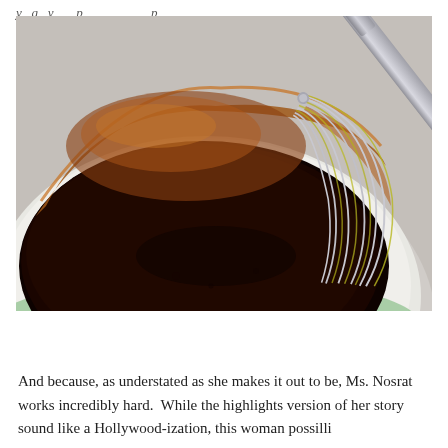...y g y p p
[Figure (photo): A close-up photo of a white/cream ceramic bowl containing a dark brown sauce or molasses mixture being whisked with a metal balloon whisk. The sauce has an amber/brown hue around the edges and deep dark brown in the center. The whisk has silver and gold-toned wires.]
And because, as understated as she makes it out to be, Ms. Nosrat works incredibly hard.  While the highlights version of her story sound like a Hollywood-ization, this woman possilli